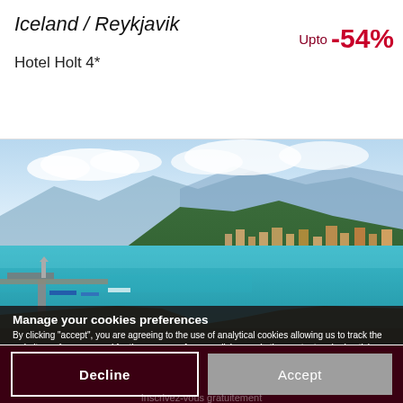Iceland / Reykjavik
Hotel Holt 4*
Upto -54%
[Figure (photo): Aerial coastal view of a Mediterranean harbor city with turquoise water, a pier with lighthouse, densely built hillside with terracotta roofs, and mountains in the background under a partly cloudy sky.]
Manage your cookies preferences
By clicking "accept", you are agreeing to the use of analytical cookies allowing us to track the website performance and for the purpose of personalising marketing content and advertising. By clicking here, you can manage the options you wish to accept or decline and get more information about the cookies we use.
EXCLUSIVE
Decline
Accept
Inscrivez-vous gratuitement